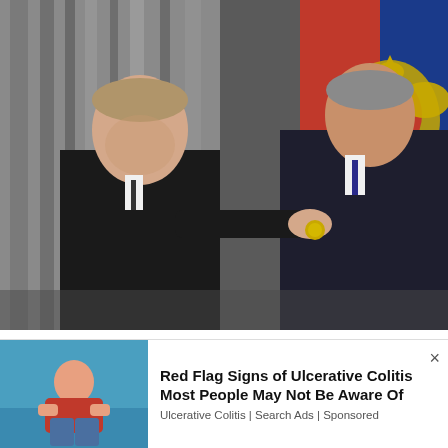[Figure (photo): Two men in dark suits at a formal ceremony. The man on the left is pinning a medal or decoration onto the chest of the man on the right. A red flag with a Russian double-headed eagle emblem in gold is visible in the background, along with gray curtain draping.]
The Head of Russian oil giant that
[Figure (photo): Advertisement image: person in red shirt and jeans holding their stomach, seated on a blue couch.]
Red Flag Signs of Ulcerative Colitis Most People May Not Be Aware Of
Ulcerative Colitis | Search Ads | Sponsored